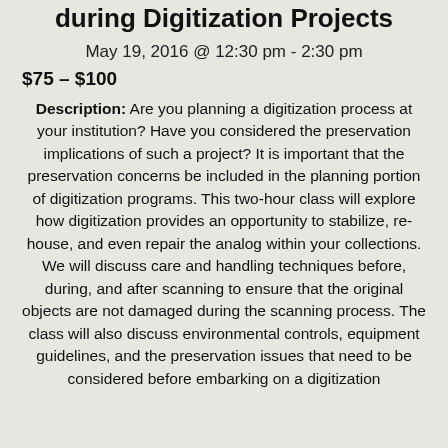during Digitization Projects
May 19, 2016 @ 12:30 pm - 2:30 pm
$75 – $100
Description: Are you planning a digitization process at your institution? Have you considered the preservation implications of such a project? It is important that the preservation concerns be included in the planning portion of digitization programs. This two-hour class will explore how digitization provides an opportunity to stabilize, re-house, and even repair the analog within your collections. We will discuss care and handling techniques before, during, and after scanning to ensure that the original objects are not damaged during the scanning process. The class will also discuss environmental controls, equipment guidelines, and the preservation issues that need to be considered before embarking on a digitization